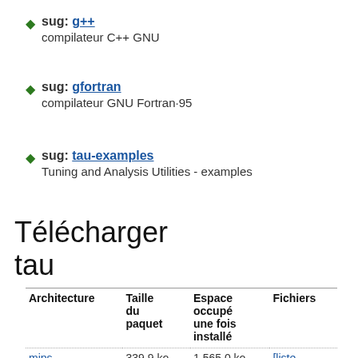sug: g++ compilateur C++ GNU
sug: gfortran compilateur GNU Fortran·95
sug: tau-examples Tuning and Analysis Utilities - examples
Télécharger tau
| Architecture | Taille du paquet | Espace occupé une fois installé | Fichiers |
| --- | --- | --- | --- |
| mips | 339,9 ko | 1 565,0 ko | [liste des fichiers] |